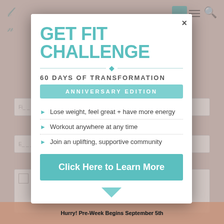[Figure (screenshot): Dimmed website background with form fields, logo, search icon, and orange footer bar reading 'Hurry! Pre-Week Begins September 5th']
GET FIT CHALLENGE
60 DAYS OF TRANSFORMATION
ANNIVERSARY EDITION
Lose weight, feel great + have more energy
Workout anywhere at any time
Join an uplifting, supportive community
Click Here to Learn More
Hurry! Pre-Week Begins September 5th